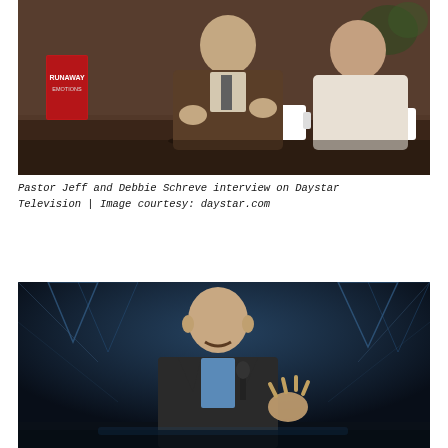[Figure (photo): Pastor Jeff and Debbie Schreve seated at a table during a TV interview on Daystar Television. A red book titled 'Runaway Emotions' is visible on the left. White mugs on the table. Jeff is gesturing with his hands while speaking.]
Pastor Jeff and Debbie Schreve interview on Daystar Television | Image courtesy: daystar.com
[Figure (photo): A bald man with a mustache speaking on a stage with blue lighting and geometric stage set design in the background. He is wearing a dark blazer and light blue shirt, gesturing with his right hand.]